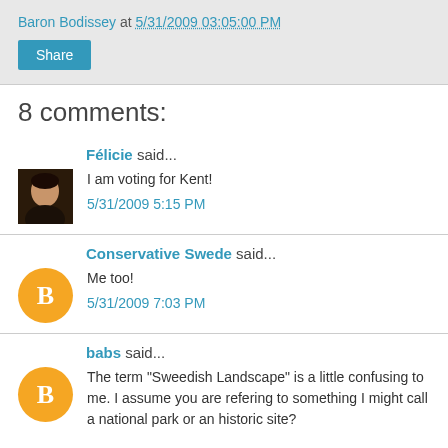Baron Bodissey at 5/31/2009 03:05:00 PM
Share
8 comments:
Félicie said...
I am voting for Kent!
5/31/2009 5:15 PM
Conservative Swede said...
Me too!
5/31/2009 7:03 PM
babs said...
The term "Sweedish Landscape" is a little confusing to me. I assume you are refering to something I might call a national park or an historic site?